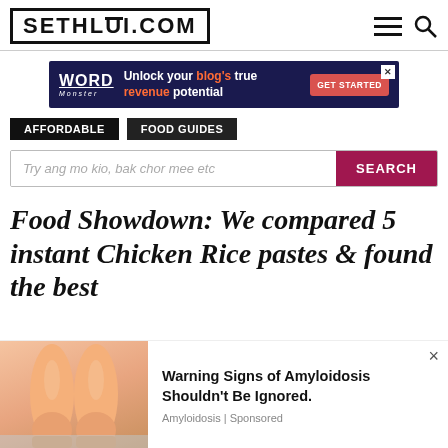SETHLUI.COM
[Figure (screenshot): Advertisement banner: Word Monster logo with text 'Unlock your blog's true revenue potential' and a GET STARTED button]
AFFORDABLE | FOOD GUIDES
Try ang mo kio, bak chor mee etc
Food Showdown: We compared 5 instant Chicken Rice pastes & found the best
[Figure (infographic): Advertisement: Warning Signs of Amyloidosis Shouldn't Be Ignored. Amyloidosis | Sponsored. Shows stylized illustration of legs/ankles.]